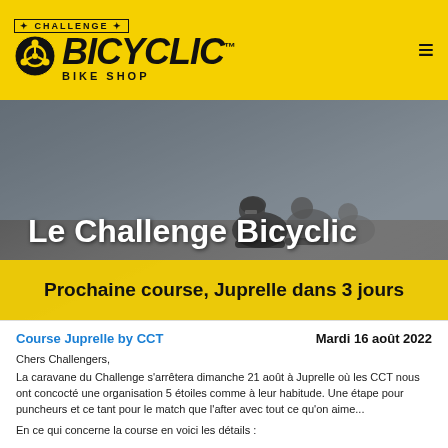[Figure (logo): Challenge Bicyclic Bike Shop logo on yellow background with hamburger menu icon]
[Figure (photo): Cyclists racing on a road, group of riders in competitive cycling gear]
Le Challenge Bicyclic
Prochaine course, Juprelle dans 3 jours
Course Juprelle by CCT
Mardi 16 août 2022
Chers Challengers,
La caravane du Challenge s'arrêtera dimanche 21 août à Juprelle où les CCT nous ont concocté une organisation 5 étoiles comme à leur habitude. Une étape pour puncheurs et ce tant pour le match que l'after avec tout ce qu'on aime...
En ce qui concerne la course en voici les détails :
- Adresse : Rue des Combattants à Liers
- Inscriptions : 14h
- Départs : C1 15h (9x7 kms)/ C2 15h01' (8x7kms) / C3 15h02'